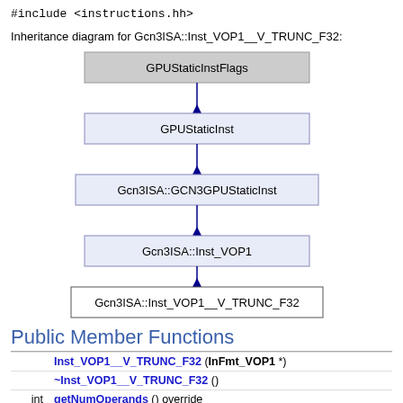#include <instructions.hh>
Inheritance diagram for Gcn3ISA::Inst_VOP1__V_TRUNC_F32:
[Figure (flowchart): Inheritance diagram showing class hierarchy: GPUStaticInstFlags at top, then GPUStaticInst, then Gcn3ISA::GCN3GPUStaticInst, then Gcn3ISA::Inst_VOP1, then Gcn3ISA::Inst_VOP1__V_TRUNC_F32 at bottom. Connected by upward arrows indicating inheritance.]
Public Member Functions
| type | function |
| --- | --- |
|  | Inst_VOP1__V_TRUNC_F32 (InFmt_VOP1 *) |
|  | ~Inst_VOP1__V_TRUNC_F32 () |
| int | getNumOperands () override |
| int | numDstRegOperands () override |